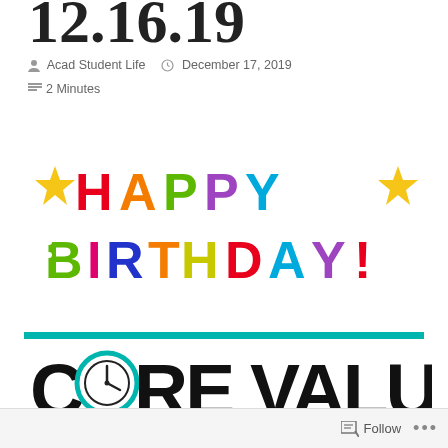12.16.19
Acad Student Life   December 17, 2019
2 Minutes
[Figure (illustration): Colorful 'HAPPY BIRTHDAY!' text graphic with stars in various bright colors (green, blue, yellow, red, orange, purple, magenta)]
[Figure (illustration): CORE VALUES logo with teal border lines and a clock icon replacing the letter O in CORE, black hand-drawn bold lettering on white background]
Follow ...